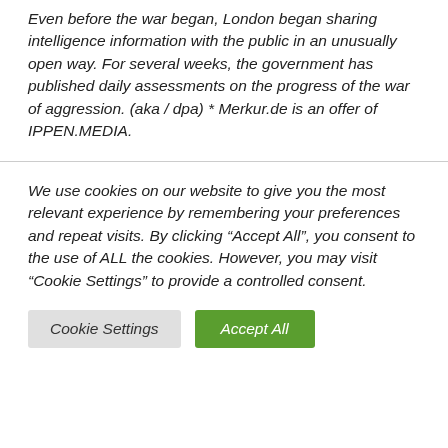Even before the war began, London began sharing intelligence information with the public in an unusually open way. For several weeks, the government has published daily assessments on the progress of the war of aggression. (aka / dpa) * Merkur.de is an offer of IPPEN.MEDIA.
We use cookies on our website to give you the most relevant experience by remembering your preferences and repeat visits. By clicking “Accept All”, you consent to the use of ALL the cookies. However, you may visit "Cookie Settings" to provide a controlled consent.
Cookie Settings | Accept All